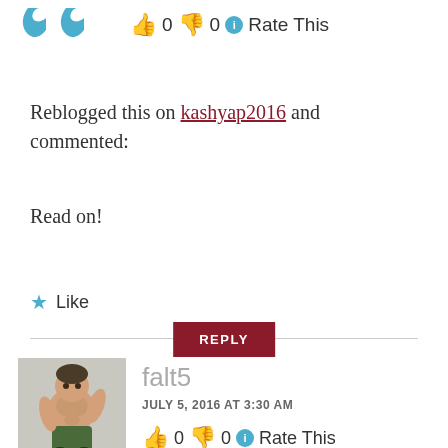[Figure (illustration): Partial avatar icons (blue arrows/quotation marks) at the top left, partially cropped]
👍 0 👎 0 ℹ Rate This
Reblogged this on kashyap2016 and commented:
Read on!
★ Like
REPLY
[Figure (illustration): Avatar image for user falt5: a muscular fighter character wearing green pants, comic/game art style, with 'TOP' logo at bottom]
falt5
JULY 5, 2016 AT 3:30 AM
👍 0 👎 0 ℹ Rate This
Reblogged this on Legal Terrorism